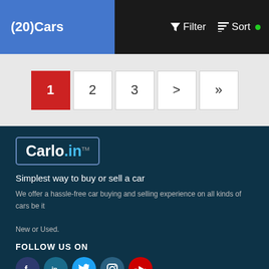(20)Cars | Filter Sort
1 2 3 > »
[Figure (logo): Carlo.in logo with blue border and teal dot-in text]
Simplest way to buy or sell a car
We offer a hassle-free car buying and selling experience on all kinds of cars be it New or Used.
FOLLOW US ON
[Figure (infographic): Social media icons: Facebook, LinkedIn, Twitter, Instagram, YouTube]
OTHERS
QUICK LINKS